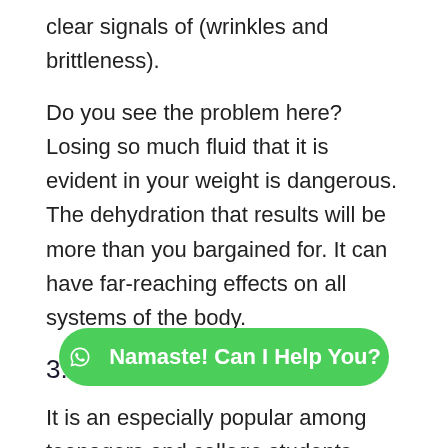clear signals of (wrinkles and brittleness).
Do you see the problem here? Losing so much fluid that it is evident in your weight is dangerous. The dehydration that results will be more than you bargained for. It can have far-reaching effects on all systems of the body.
3. Purging
It is an especially popular among teenagers and college students.
Purging can be done by inducing vomit or chewing food and then s abuse laxatives. They eat, but they do not want the
[Figure (other): WhatsApp chat button with text 'Namaste! Can I Help You?' in green rounded rectangle]